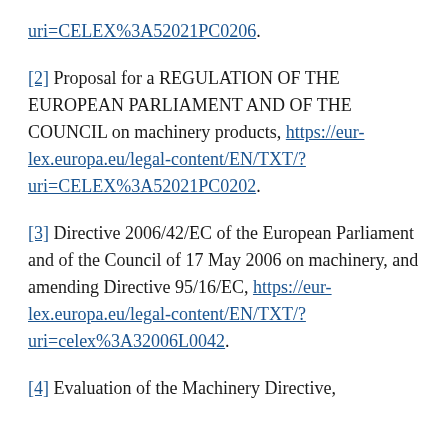uri=CELEX%3A52021PC0206.
[2] Proposal for a REGULATION OF THE EUROPEAN PARLIAMENT AND OF THE COUNCIL on machinery products, https://eur-lex.europa.eu/legal-content/EN/TXT/?uri=CELEX%3A52021PC0202.
[3] Directive 2006/42/EC of the European Parliament and of the Council of 17 May 2006 on machinery, and amending Directive 95/16/EC, https://eur-lex.europa.eu/legal-content/EN/TXT/?uri=celex%3A32006L0042.
[4] Evaluation of the Machinery Directive,